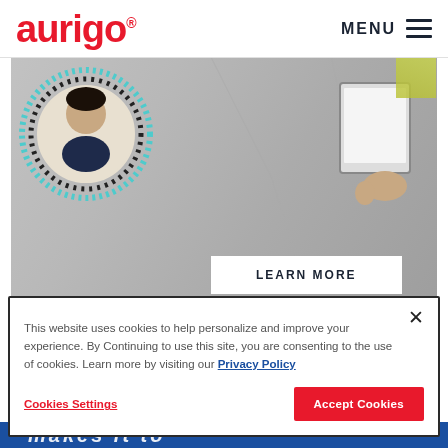aurigo® MENU
[Figure (photo): Hero image showing a person's headshot in a circular frame with teal/black dotted border on a concrete background, with hands holding a clipboard/tablet visible on the right side. A 'LEARN MORE' button overlay appears at the bottom center.]
This website uses cookies to help personalize and improve your experience. By Continuing to use this site, you are consenting to the use of cookies. Learn more by visiting our Privacy Policy
Cookies Settings
Accept Cookies
makes it to